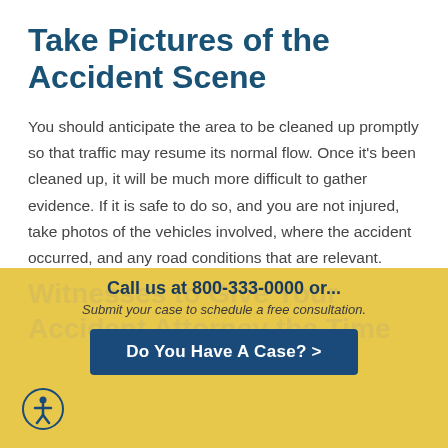Take Pictures of the Accident Scene
You should anticipate the area to be cleaned up promptly so that traffic may resume its normal flow. Once it's been cleaned up, it will be much more difficult to gather evidence. If it is safe to do so, and you are not injured, take photos of the vehicles involved, where the accident occurred, and any road conditions that are relevant.
Obtain Information from Witnesses to Give Your Accident Attorney the Time
Call us at 800-333-0000 or... Submit your case to schedule a free consultation.
Do You Have A Case? >